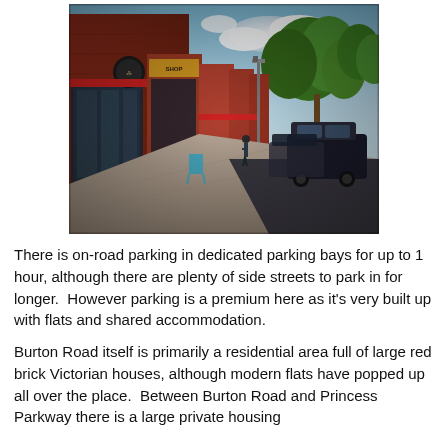[Figure (photo): Street-level photo of Burton Road showing red brick Victorian shopfronts on the left side, a pavement, parked cars on the right, trees lining the street, and a blue sky with clouds.]
There is on-road parking in dedicated parking bays for up to 1 hour, although there are plenty of side streets to park in for longer.  However parking is a premium here as it's very built up with flats and shared accommodation.
Burton Road itself is primarily a residential area full of large red brick Victorian houses, although modern flats have popped up all over the place.  Between Burton Road and Princess Parkway there is a large private housing